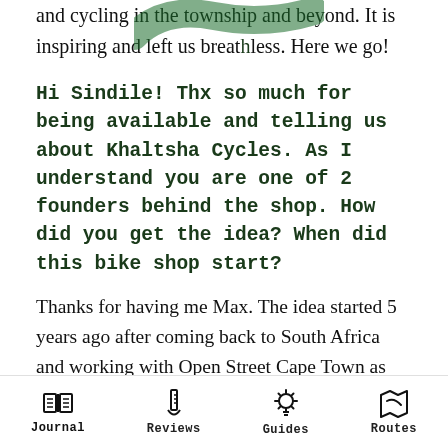and cycling in the township and beyond. It is inspiring and left us breathless. Here we go!
Hi Sindile! Thx so much for being available and telling us about Khaltsha Cycles. As I understand you are one of 2 founders behind the shop. How did you get the idea? When did this bike shop start?
Thanks for having me Max. The idea started 5 years ago after coming back to South Africa and working with Open Street Cape Town as their Non-motorised Campaigns Manager. I was heavily involved in pushing for active mobility in the City
Journal   Reviews   Guides   Routes